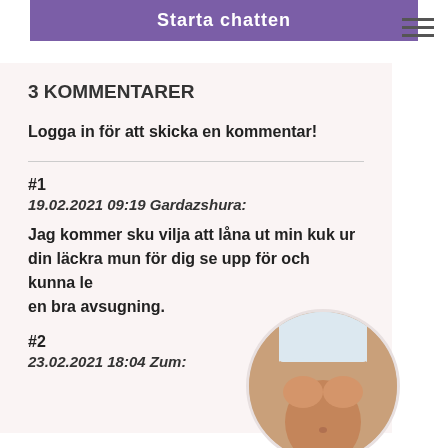[Figure (other): Purple button labeled 'Starta chatten']
[Figure (other): Hamburger menu icon (three horizontal lines)]
3 KOMMENTARER
Logga in för att skicka en kommentar!
#1
19.02.2021 09:19 Gardazshura:
Jag kommer sku vilja att låna ut min kuk ur din läckra mun för dig se upp för och kunna le en bra avsugning.
#2
23.02.2021 18:04 Zum:
[Figure (photo): Circular cropped photo of a person's torso with a masked face]